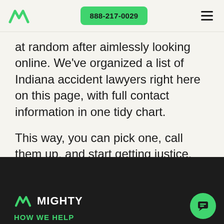Mighty | 888-217-0029
at random after aimlessly looking online. We've organized a list of Indiana accident lawyers right here on this page, with full contact information in one tidy chart.
This way, you can pick one, call them up, and start getting justice.
[Figure (logo): Mighty logo with green M icon and white MIGHTY wordmark on dark background]
HOW WE HELP